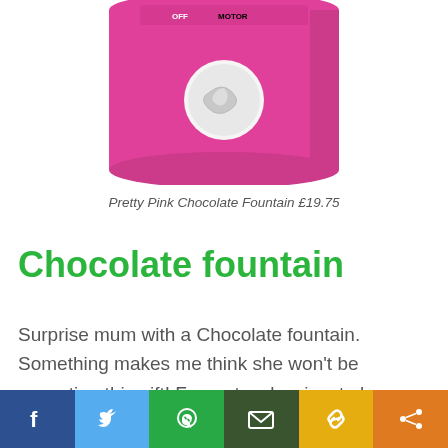[Figure (photo): Partial image of a pink chocolate fountain appliance with white control knob, labels 'OFF' and 'MOTOR' visible at top, cropped from top of page]
Pretty Pink Chocolate Fountain £19.75
Chocolate fountain
Surprise mum with a Chocolate fountain. Something makes me think she won't be expecting this gift! From strawberries, to banana slices and grapes, a Chocolate Fountain is the perfect dipping indulgent treat. Great for dinner parties and cheat
[Figure (infographic): Social media sharing bar at bottom with Facebook, Twitter, WhatsApp, Email, Copy Link, and Share buttons]